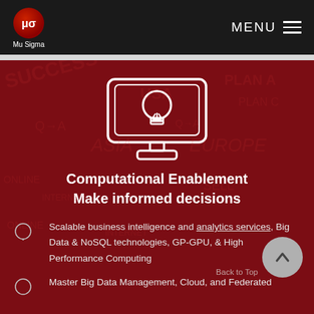Mu Sigma | MENU
[Figure (illustration): Monitor/screen icon with a lightbulb inside, white line art on dark red background]
Computational Enablement
Make informed decisions
Scalable business intelligence and analytics services, Big Data & NoSQL technologies, GP-GPU, & High Performance Computing
Master Big Data Management, Cloud, and Federated